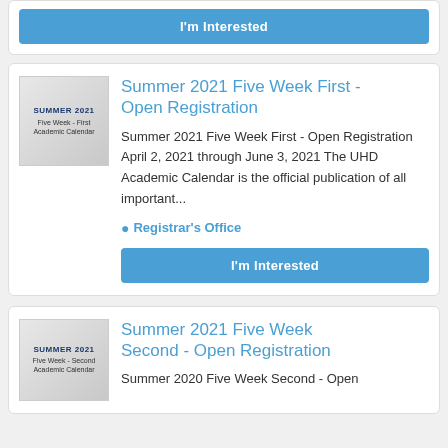[Figure (screenshot): Partial card with I'm Interested button at top of page]
Summer 2021 Five Week First - Open Registration
Summer 2021 Five Week First - Open Registration April 2, 2021 through June 3, 2021 The UHD Academic Calendar is the official publication of all important...
Registrar's Office
I'm Interested
Summer 2021 Five Week Second - Open Registration
Summer 2020 Five Week Second - Open